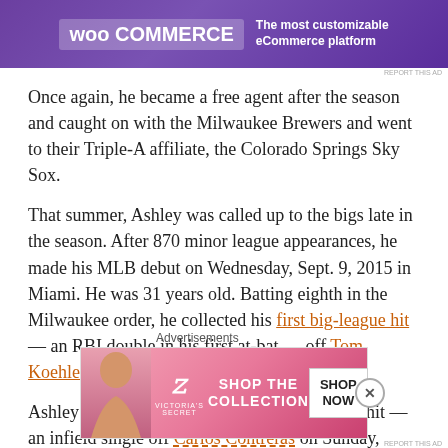[Figure (other): WooCommerce advertisement banner — purple background with WooCommerce logo and tagline 'The most customizable eCommerce platform']
Once again, he became a free agent after the season and caught on with the Milwaukee Brewers and went to their Triple-A affiliate, the Colorado Springs Sky Sox.
That summer, Ashley was called up to the bigs late in the season. After 870 minor league appearances, he made his MLB debut on Wednesday, Sept. 9, 2015 in Miami. He was 31 years old. Batting eighth in the Milwaukee order, he collected his first big-league hit — an RBI double in his first at-bat — off Tom Koehler.
Ashley would finish the season with one more hit — an infield single off Carlos Contreras on Sunday, Sept. 20 in Cincinnati
Advertisements
[Figure (other): Victoria's Secret advertisement banner — pink gradient background with VS logo, 'SHOP THE COLLECTION' text, and 'SHOP NOW' button]